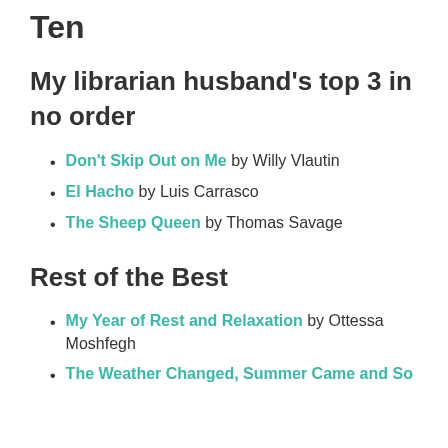Ten
My librarian husband's top 3 in no order
Don't Skip Out on Me by Willy Vlautin
El Hacho by Luis Carrasco
The Sheep Queen by Thomas Savage
Rest of the Best
My Year of Rest and Relaxation by Ottessa Moshfegh
The Weather Changed, Summer Came and So